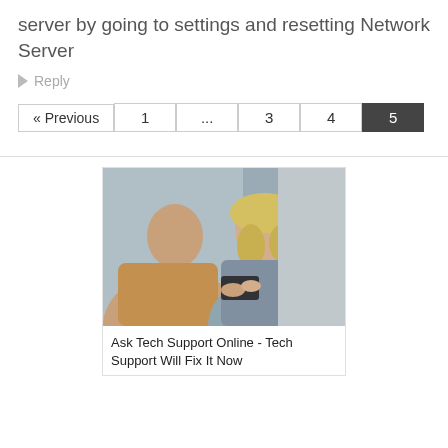server by going to settings and resetting Network Server
Reply
« Previous  1  ...  3  4  5
[Figure (photo): Two people looking at a smartphone together — a man with a shaved head in a tan hoodie and a woman with blonde wavy hair in a gray top.]
Ask Tech Support Online - Tech Support Will Fix It Now